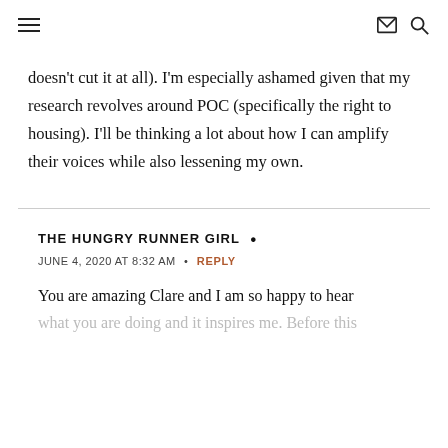≡  ✉ 🔍
doesn't cut it at all). I'm especially ashamed given that my research revolves around POC (specifically the right to housing). I'll be thinking a lot about how I can amplify their voices while also lessening my own.
THE HUNGRY RUNNER GIRL •
JUNE 4, 2020 AT 8:32 AM  •  REPLY
You are amazing Clare and I am so happy to hear what you are doing and it inspires me. Before this